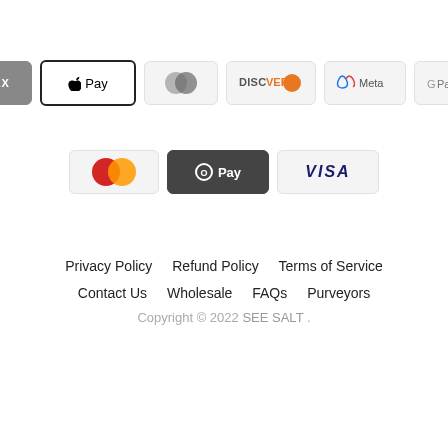[Figure (other): Row of payment method icons: AMEX, Apple Pay, Diners Club, Discover, Meta, Google Pay]
[Figure (other): Row of payment method icons: Mastercard, OPay, Visa]
Privacy Policy   Refund Policy   Terms of Service
Contact Us   Wholesale   FAQs   Purveyors
Copyright © 2022 SEE SALT .